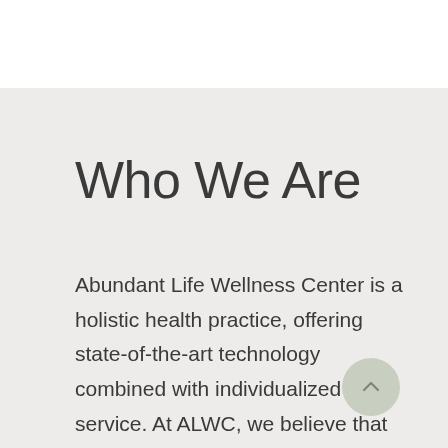Who We Are
Abundant Life Wellness Center is a holistic health practice, offering state-of-the-art technology combined with individualized service. At ALWC, we believe that each person should be approached